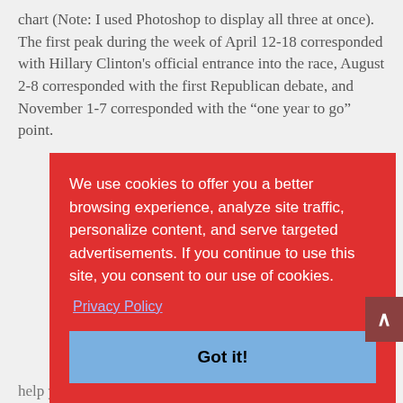chart (Note: I used Photoshop to display all three at once). The first peak during the week of April 12-18 corresponded with Hillary Clinton's official entrance into the race, August 2-8 corresponded with the first Republican debate, and November 1-7 corresponded with the “one year to go” point.
We use cookies to offer you a better browsing experience, analyze site traffic, personalize content, and serve targeted advertisements. If you continue to use this site, you consent to our use of cookies.
Privacy Policy
Got it!
help you tailor the language you use or